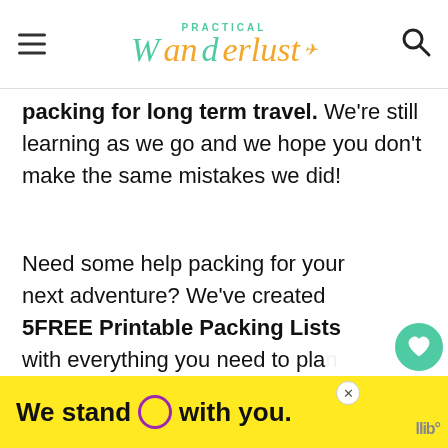PRACTICAL Wanderlust
packing for long term travel. We're still learning as we go and we hope you don't make the same mistakes we did!
Need some help packing for your next adventure? We've created 5FREE Printable Packing Lists with everything you need to plan your next trip. We'll also send our favorite travel tips straight to your inbox! Just sign up
[Figure (screenshot): Share/like widget with heart button showing 7.9K and a share icon button]
[Figure (screenshot): What's Next promo widget showing 'The 7 Best Women's...' with thumbnail image]
[Figure (screenshot): Yellow advertisement banner reading 'We stand O with you.' with purple circle logo and close button]